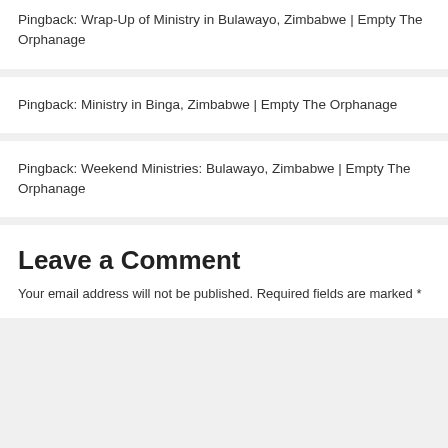Pingback: Wrap-Up of Ministry in Bulawayo, Zimbabwe | Empty The Orphanage
Pingback: Ministry in Binga, Zimbabwe | Empty The Orphanage
Pingback: Weekend Ministries: Bulawayo, Zimbabwe | Empty The Orphanage
Leave a Comment
Your email address will not be published. Required fields are marked *